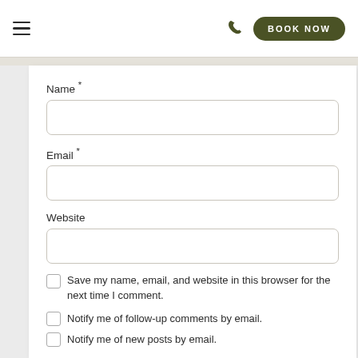☰  📞  BOOK NOW
Name *
Email *
Website
Save my name, email, and website in this browser for the next time I comment.
Notify me of follow-up comments by email.
Notify me of new posts by email.